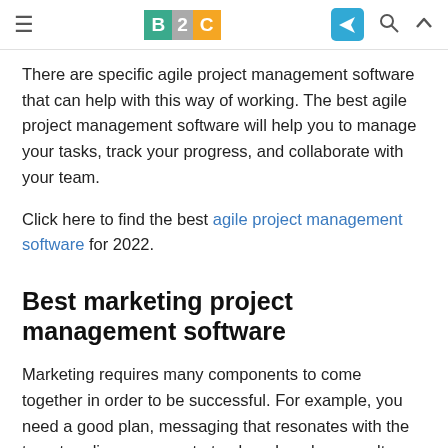≡  B2C  [telegram icon] [search icon] [up icon]
There are specific agile project management software that can help with this way of working. The best agile project management software will help you to manage your tasks, track your progress, and collaborate with your team.
Click here to find the best agile project management software for 2022.
Best marketing project management software
Marketing requires many components to come together in order to be successful. For example, you need a good plan, messaging that resonates with the target audience, a way to track and analyze results, and more.